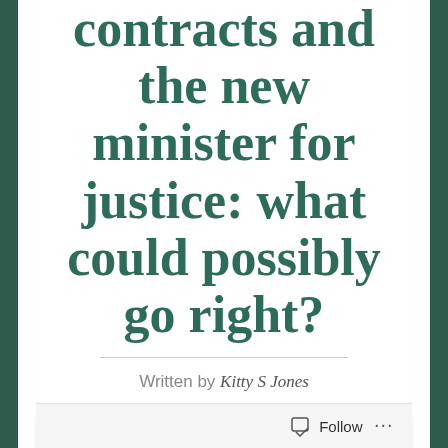contracts and the new minister for justice: what could possibly go right?
Written by Kitty S Jones
[Figure (screenshot): Embedded tweet from Richard Burgon MP (@RichardBurgon) with verified badge and Follow button. Tweet text begins: 'Serco holds contracts with the Ministry']
Follow ...